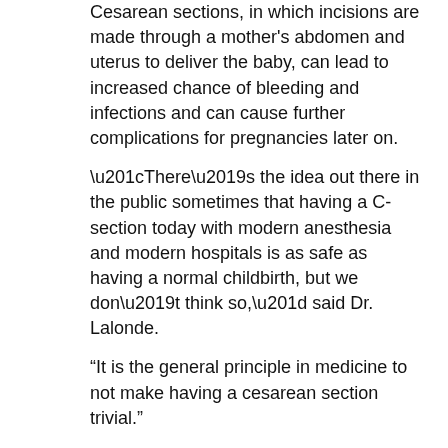Cesarean sections, in which incisions are made through a mother's abdomen and uterus to deliver the baby, can lead to increased chance of bleeding and infections and can cause further complications for pregnancies later on.
“There’s the idea out there in the public sometimes that having a C-section today with modern anesthesia and modern hospitals is as safe as having a normal childbirth, but we don’t think so,” said Dr. Lalonde.
“It is the general principle in medicine to not make having a cesarean section trivial.”
The SOGC believes that if a woman is well-prepared during pregnancy, she has the innate ability to deliver vaginally.
Another article in The Vancouver Sun, Canadian docs to stop automatic C-sections for breech babies, covers much of the same information about the change in breech policy:
In a major shift in medical practice and another...